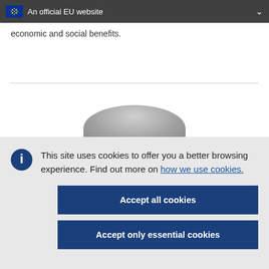An official EU website
economic and social benefits.
[Figure (photo): Partial view of a rounded gray object (likely a globe or dome shape) visible at the bottom of the content area above the cookie banner]
This site uses cookies to offer you a better browsing experience. Find out more on how we use cookies.
Accept all cookies
Accept only essential cookies